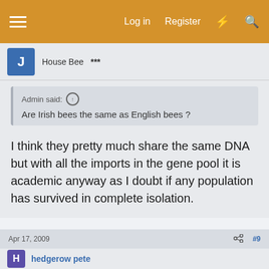Log in  Register
House Bee   ***
Admin said: ↑
Are Irish bees the same as English bees ?
I think they pretty much share the same DNA but with all the imports in the gene pool it is academic anyway as I doubt if any population has survived in complete isolation.
Apr 17, 2009   #9
hedgerow pete
Queen Bee